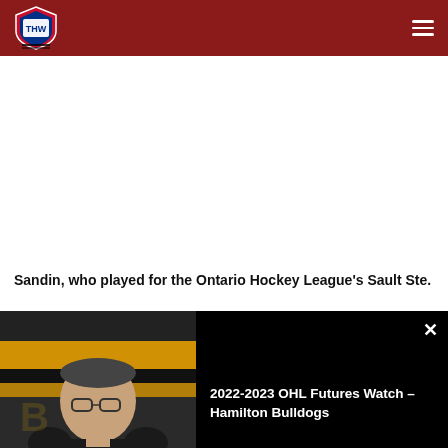THW – The Hockey Writers
Sandin, who played for the Ontario Hockey League's Sault Ste.
[Figure (screenshot): Video popup overlay showing a man (Steve Yzerman) being interviewed with Hamilton Bulldogs branding in background. Title reads '2022-2023 OHL Futures Watch – Hamilton Bulldogs'. A close (X) button appears top right.]
2022-2023 OHL Futures Watch – Hamilton Bulldogs